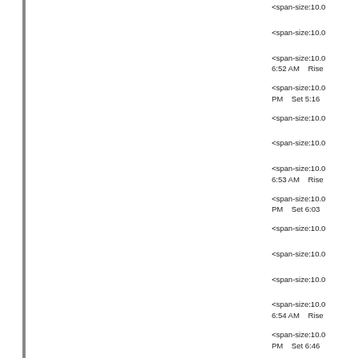<span-size:10.0
<span-size:10.0
<span-size:10.0
6:52 AM    Rise
<span-size:10.0
PM    Set 5:16
<span-size:10.0
<span-size:10.0
<span-size:10.0
6:53 AM    Rise
<span-size:10.0
PM    Set 6:03
<span-size:10.0
<span-size:10.0
<span-size:10.0
<span-size:10.0
6:54 AM    Rise
<span-size:10.0
PM    Set 6:46
<span-size:10.0